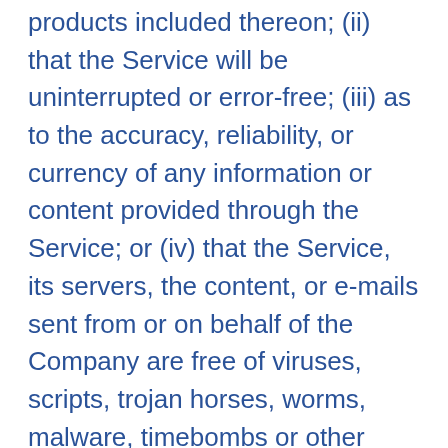products included thereon; (ii) that the Service will be uninterrupted or error-free; (iii) as to the accuracy, reliability, or currency of any information or content provided through the Service; or (iv) that the Service, its servers, the content, or e-mails sent from or on behalf of the Company are free of viruses, scripts, trojan horses, worms, malware, timebombs or other harmful components.
Some jurisdictions do not allow the exclusion of certain types of warranties or limitations on applicable statutory rights of a consumer, so some or all of the above exclusions and limitations may not apply to You. But in such